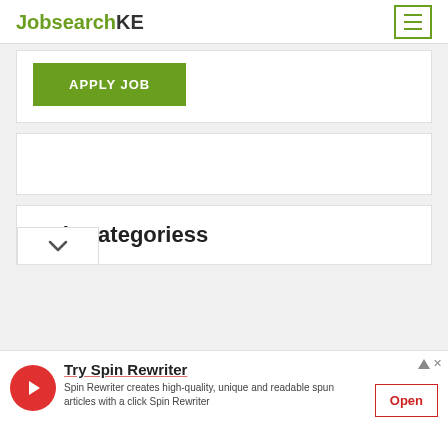JobsearchKE
APPLY JOB
Job Categoriess
[Figure (screenshot): Advertisement banner for Spin Rewriter with red circular icon, title 'Try Spin Rewriter', description text, and an 'Open' button]
Try Spin Rewriter
Spin Rewriter creates high-quality, unique and readable spun articles with a click Spin Rewriter